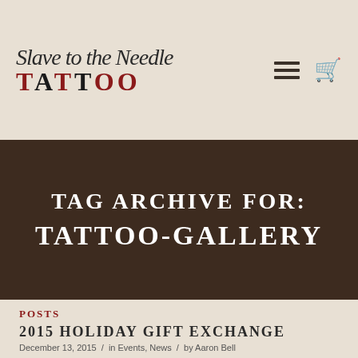Slave to the Needle Tattoo
TAG ARCHIVE FOR: TATTOO-GALLERY
POSTS
2015 HOLIDAY GIFT EXCHANGE
December 13, 2015 / in Events, News / by Aaron Bell